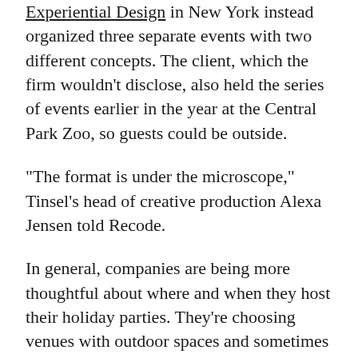Experiential Design in New York instead organized three separate events with two different concepts. The client, which the firm wouldn't disclose, also held the series of events earlier in the year at the Central Park Zoo, so guests could be outside.
“The format is under the microscope,” Tinsel’s head of creative production Alexa Jensen told Recode.
In general, companies are being more thoughtful about where and when they host their holiday parties. They’re choosing venues with outdoor spaces and sometimes moving the event to the fall or spring to take advantage of warmer weather. They also have to be more nimble with all aspects of the event.
“It’s no longer just Plan B is the rain plan,”